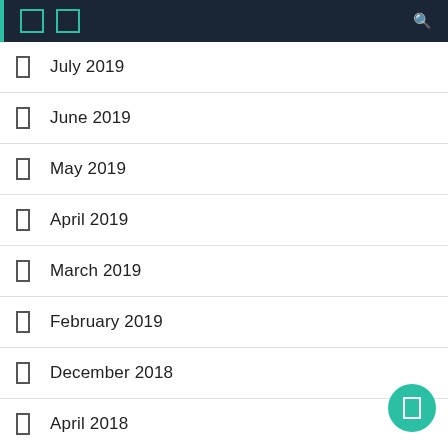Navigation bar with icons
July 2019
June 2019
May 2019
April 2019
March 2019
February 2019
December 2018
April 2018
November 2017
September 2017